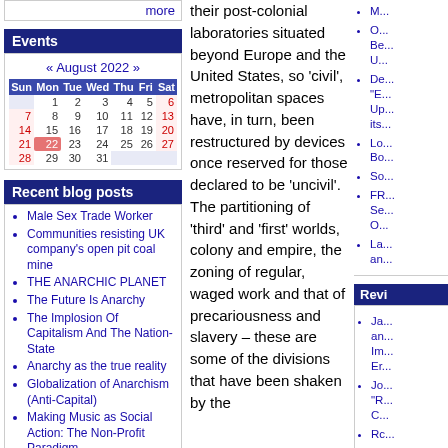more
Events
| Sun | Mon | Tue | Wed | Thu | Fri | Sat |
| --- | --- | --- | --- | --- | --- | --- |
|  | 1 | 2 | 3 | 4 | 5 | 6 |
| 7 | 8 | 9 | 10 | 11 | 12 | 13 |
| 14 | 15 | 16 | 17 | 18 | 19 | 20 |
| 21 | 22 | 23 | 24 | 25 | 26 | 27 |
| 28 | 29 | 30 | 31 |  |  |  |
Recent blog posts
Male Sex Trade Worker
Communities resisting UK company's open pit coal mine
THE ANARCHIC PLANET
The Future Is Anarchy
The Implosion Of Capitalism And The Nation-State
Anarchy as the true reality
Globalization of Anarchism (Anti-Capital)
Making Music as Social Action: The Non-Profit Paradigm
May the year 2007 be the
their post-colonial laboratories situated beyond Europe and the United States, so 'civil', metropolitan spaces have, in turn, been restructured by devices once reserved for those declared to be 'uncivil'. The partitioning of 'third' and 'first' worlds, colony and empire, the zoning of regular, waged work and that of precariousness and slavery – these are some of the divisions that have been shaken by the
Revi